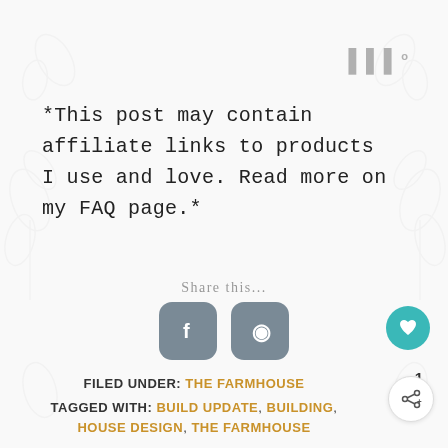*This post may contain affiliate links to products I use and love. Read more on my FAQ page.*
Share this...
[Figure (other): Facebook and Pinterest social share buttons]
FILED UNDER: THE FARMHOUSE
TAGGED WITH: BUILD UPDATE, BUILDING, HOUSE DESIGN, THE FARMHOUSE